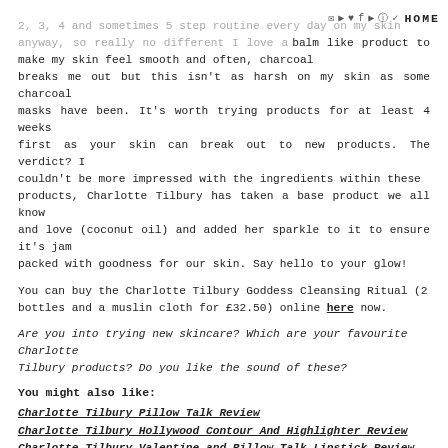HOME
2, 3, 4 and sometimes 5 step routine every day on my skin anyway, so really no different. I love a balm like product to make my skin feel smooth and often, charcoal breaks me out but this isn't as harsh on my skin as some charcoal masks have been. It's worth trying products for at least 4 weeks first as your skin can break out to new products. The verdict? I couldn't be more impressed with the ingredients within these products, Charlotte Tilbury has taken a base product we all know and love (coconut oil) and added her sparkle to it to ensure it's jam packed with goodness for our skin. Say hello to your glow!
You can buy the Charlotte Tilbury Goddess Cleansing Ritual (2 bottles and a muslin cloth for £32.50) online here now.
Are you into trying new skincare? Which are your favourite Charlotte Tilbury products? Do you like the sound of these?
You might also like:
Charlotte Tilbury Pillow Talk Review
Charlotte Tilbury Hollywood Contour And Highlighter Review
Charlotte Tilbury Valentine and Pillow Talk Lipstick Review
Armani Ecstasy Shine Lipstick Review
Jo Malone Myrrh & Tonka Intense Body Creme and Candle Review